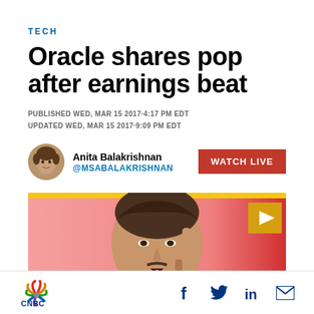TECH
Oracle shares pop after earnings beat
PUBLISHED WED, MAR 15 2017·4:17 PM EDT
UPDATED WED, MAR 15 2017·9:09 PM EDT
Anita Balakrishnan @MSABALAKRISHNAN
[Figure (photo): Photo of a man pointing upward with index finger, pink background, with WATCH LIVE button overlay]
[Figure (logo): CNBC logo at bottom left]
[Figure (infographic): Social media icons: Facebook, Twitter, LinkedIn, Email]